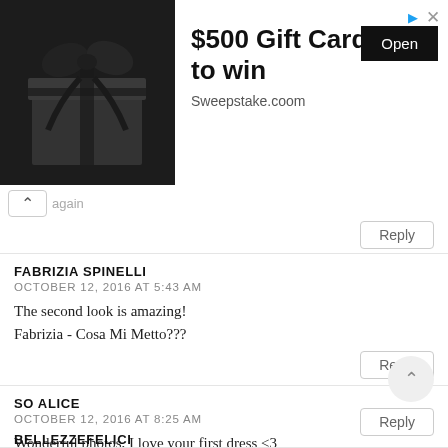[Figure (photo): Advertisement banner with a dark gift box wrapped with ribbon on the left, and '$500 Gift Card to win' text with an 'Open' button and 'Sweepstake.coom' URL on the right.]
again
Reply
FABRIZIA SPINELLI
OCTOBER 12, 2016 AT 5:43 AM
The second look is amazing!
Fabrizia - Cosa Mi Metto???
Reply
SO ALICE
OCTOBER 12, 2016 AT 8:25 AM
Wonderful photos, I love your first dress <3
Reply
BELLEZZEFELICI